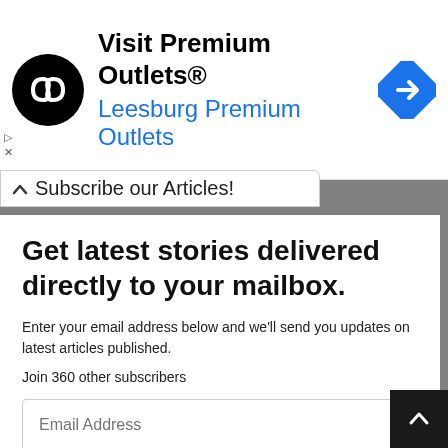[Figure (other): Advertisement banner for Premium Outlets — black circular logo with double-arrow icon, text 'Visit Premium Outlets®' and 'Leesburg Premium Outlets' in blue, blue diamond navigation icon on right]
Subscribe our Articles!
Get latest stories delivered directly to your mailbox.
Enter your email address below and we'll send you updates on latest articles published.
Join 360 other subscribers